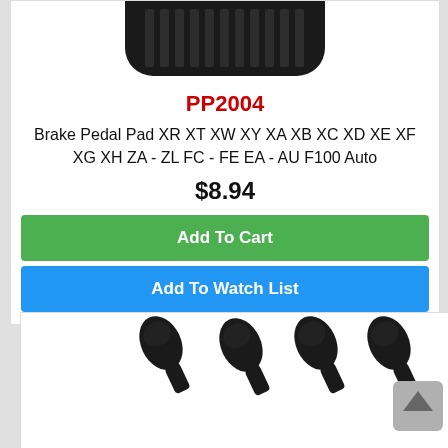[Figure (photo): Brake pedal pad product image shown from below with ribbed rubber surface, dark/black color, rounded rectangular shape]
PP2004
Brake Pedal Pad XR XT XW XY XA XB XC XD XE XF XG XH ZA - ZL FC - FE EA - AU F100 Auto
$8.94
Add To Cart
Add To Watch List
[Figure (photo): Four small black automotive brake parts (possibly brake adjuster clips or similar components) shown in a row, with a scroll-to-top button on the right]